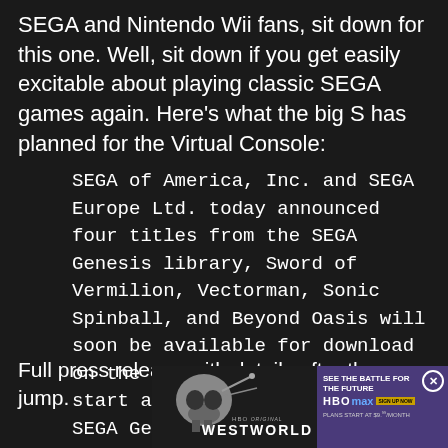SEGA and Nintendo Wii fans, sit down for this one. Well, sit down if you get easily excitable about playing classic SEGA games again. Here's what the big S has planned for the Virtual Console:
SEGA of America, Inc. and SEGA Europe Ltd. today announced four titles from the SEGA Genesis library, Sword of Vermilion, Vectorman, Sonic Spinball, and Beyond Oasis will soon be available for download on the Wii Shop Channel. Prices start at 800 Wii Points for SEGA Genesis titles.
Full press release with details after the jump.
[Figure (screenshot): Advertisement for HBO Westworld series on HBO Max, showing a skull with mechanical parts on the left side, the WESTWORLD logo in center, and on the right a purple background with text 'SEE THE BATTLE FOR THE FUTURE', HBO Max logo with 'SIGN UP NOW' button, and 'PLANS START AT $9.99/MONTH']